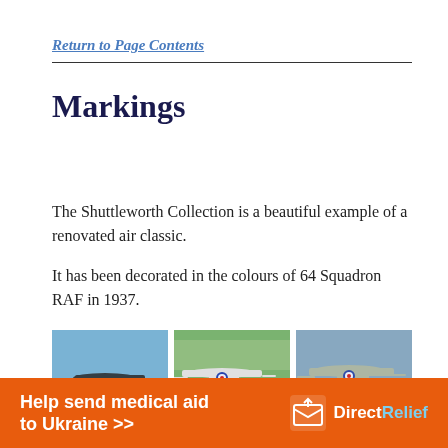Return to Page Contents
Markings
The Shuttleworth Collection is a beautiful example of a renovated air classic.

It has been decorated in the colours of 64 Squadron RAF in 1937.
[Figure (photo): Three photos of vintage biplane aircraft in RAF markings. Left: dark-colored biplane on ground. Center: silver/white biplane with RAF roundels on grass airfield. Right: silver biplane in flight against sky.]
Help send medical aid to Ukraine >> DirectRelief